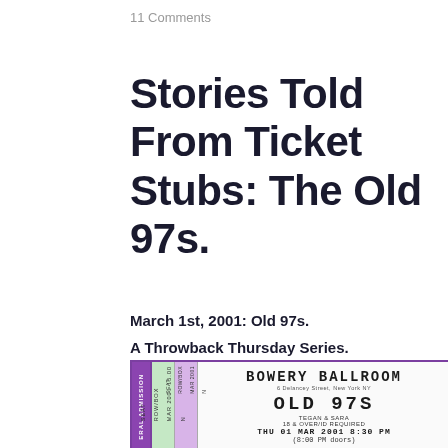11 Comments
Stories Told From Ticket Stubs: The Old 97s.
March 1st, 2001: Old 97s.
A Throwback Thursday Series.
[Figure (photo): Concert ticket stub for Old 97s at Bowery Ballroom, 6 Delancey Street, New York NY, with Tegan & Sara, 18 & Over/ID Required, THU 01 MAR 2001 8:30 PM (8:00 PM doors), price $15.00]